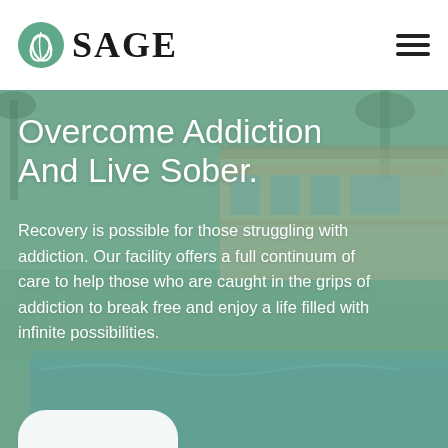SAGE
Overcome Addiction And Live Sober.
Recovery is possible for those struggling with addiction. Our facility offers a full continuum of care to help those who are caught in the grips of addiction to break free and enjoy a life filled with infinite possibilities.